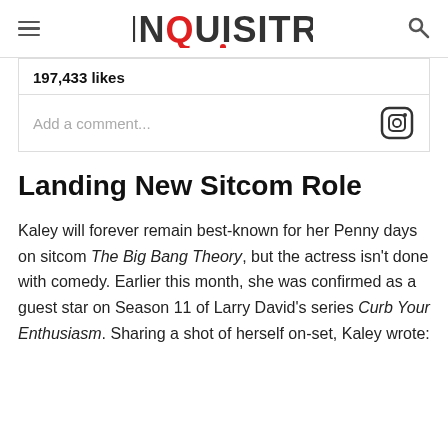INQUISITR
197,433 likes
Add a comment...
Landing New Sitcom Role
Kaley will forever remain best-known for her Penny days on sitcom The Big Bang Theory, but the actress isn't done with comedy. Earlier this month, she was confirmed as a guest star on Season 11 of Larry David's series Curb Your Enthusiasm. Sharing a shot of herself on-set, Kaley wrote: